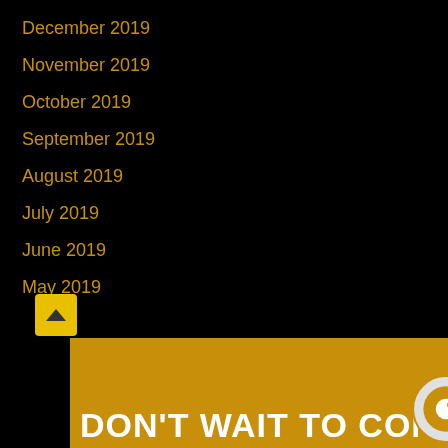December 2019
November 2019
October 2019
September 2019
August 2019
July 2019
June 2019
May 2019
[Figure (infographic): Golden/orange banner at the bottom with bold white text reading DON'T WAIT TO CONTACT partially visible, with a circular icon on the right side, and a yellow scroll-to-top button on the left.]